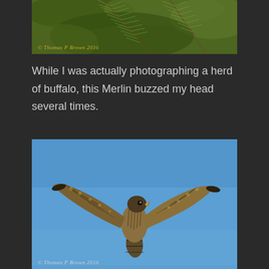[Figure (photo): Close-up photo of conifer/pine branches with needles against a green background, with copyright watermark '© Thomas P Brown 2016' in the lower left]
While I was actually photographing a herd of buffalo, this Merlin buzzed my head several times.
[Figure (photo): Photo of a Merlin falcon in flight against a blue sky, showing spread wings and tail markings, with copyright watermark '© Thomas P Brown 2016' in the lower left]